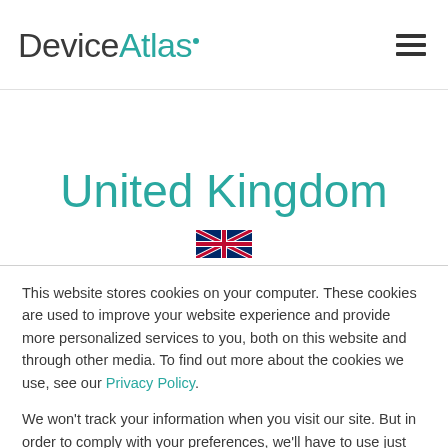DeviceAtlas
United Kingdom
This website stores cookies on your computer. These cookies are used to improve your website experience and provide more personalized services to you, both on this website and through other media. To find out more about the cookies we use, see our Privacy Policy.
We won't track your information when you visit our site. But in order to comply with your preferences, we'll have to use just one tiny cookie so that you're not asked to make this choice again.